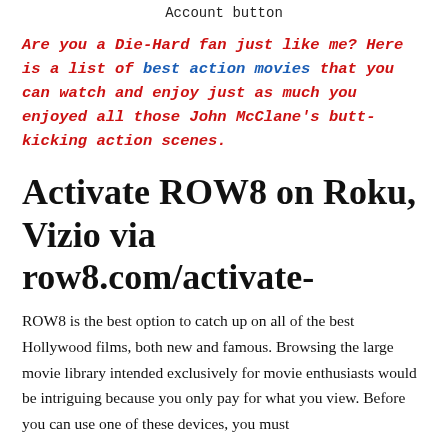Account button
Are you a Die-Hard fan just like me? Here is a list of best action movies that you can watch and enjoy just as much you enjoyed all those John McClane's butt-kicking action scenes.
Activate ROW8 on Roku, Vizio via row8.com/activate-
ROW8 is the best option to catch up on all of the best Hollywood films, both new and famous. Browsing the large movie library intended exclusively for movie enthusiasts would be intriguing because you only pay for what you view. Before you can use one of these devices, you must